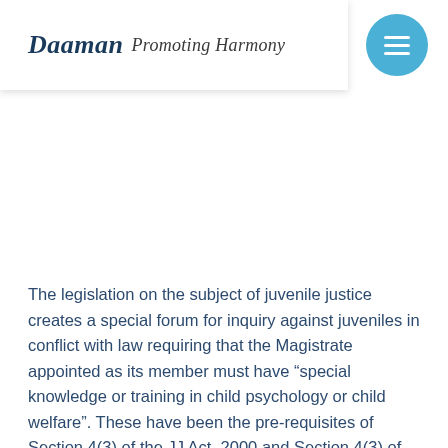Daaman Promoting Harmony
The legislation on the subject of juvenile justice creates a special forum for inquiry against juveniles in conflict with law requiring that the Magistrate appointed as its member must have “special knowledge or training in child psychology or child welfare”. These have been the pre-requisites of Section 4(3) of the JJ Act, 2000 and Section 4(3) of the JJ Act, 2015